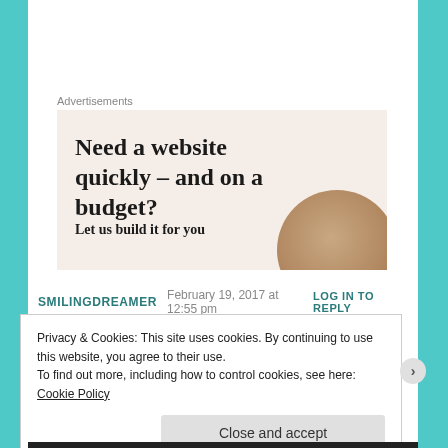Advertisements
[Figure (infographic): Ad banner with light beige background showing text 'Need a website quickly – and on a budget?' and subtext 'Let us build it for you', with a circular image of a person's head on the right side.]
SMILINGDREAMER   February 19, 2017 at 12:55 pm   LOG IN TO REPLY
Privacy & Cookies: This site uses cookies. By continuing to use this website, you agree to their use.
To find out more, including how to control cookies, see here: Cookie Policy
Close and accept